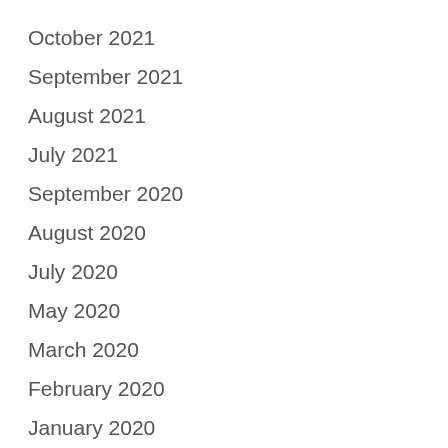October 2021
September 2021
August 2021
July 2021
September 2020
August 2020
July 2020
May 2020
March 2020
February 2020
January 2020
December 2019